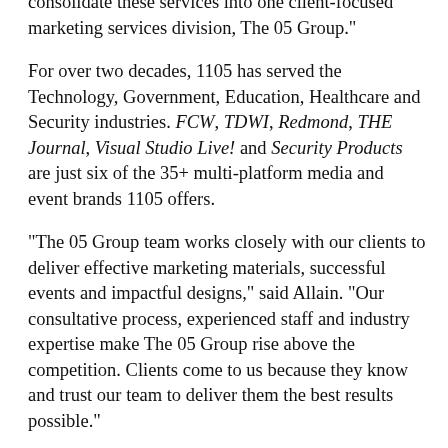consolidate these services into one client-focused marketing services division, The 05 Group.
For over two decades, 1105 has served the Technology, Government, Education, Healthcare and Security industries. FCW, TDWI, Redmond, THE Journal, Visual Studio Live! and Security Products are just six of the 35+ multi-platform media and event brands 1105 offers.
"The 05 Group team works closely with our clients to deliver effective marketing materials, successful events and impactful designs," said Allain. "Our consultative process, experienced staff and industry expertise make The 05 Group rise above the competition. Clients come to us because they know and trust our team to deliver them the best results possible."
Current and past clients for 1105 Media include Adobe, Cisco, Dell, Emc, Foundry, and IBM...